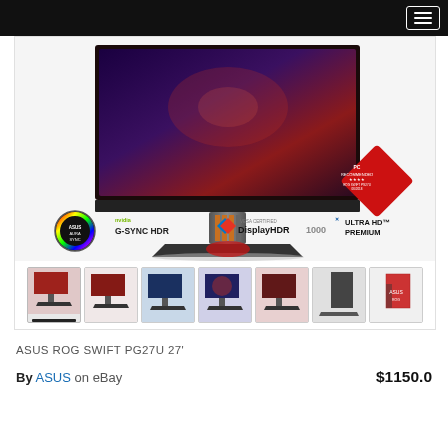[Figure (photo): ASUS ROG Swift PG27U 27-inch gaming monitor product photo showing the monitor from front with AURA SYNC, G-SYNC HDR, DisplayHDR 1000, and Ultra HD Premium badges, along with a PC Recommended badge. A strip of 7 product thumbnail images appears at the bottom.]
ASUS ROG SWIFT PG27U 27'
By ASUS on eBay — $1150.0